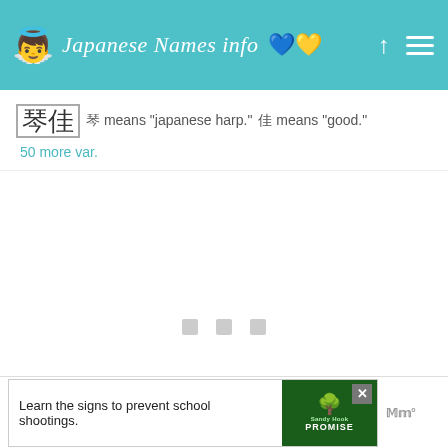Japanese Names info 💙💛
琴佳  琴 means "japanese harp."  佳 means "good."  50 more var.
[Figure (other): Three loading placeholder dots (grey squares) in two rows, indicating content loading]
[Figure (other): Advertisement banner: Learn the signs to prevent school shootings. Sandy Hook Promise logo with tree illustration.]